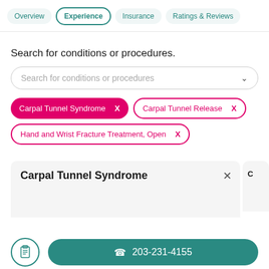Overview | Experience | Insurance | Ratings & Reviews
Search for conditions or procedures.
Search for conditions or procedures
Carpal Tunnel Syndrome  X
Carpal Tunnel Release  X
Hand and Wrist Fracture Treatment, Open  X
Carpal Tunnel Syndrome
203-231-4155